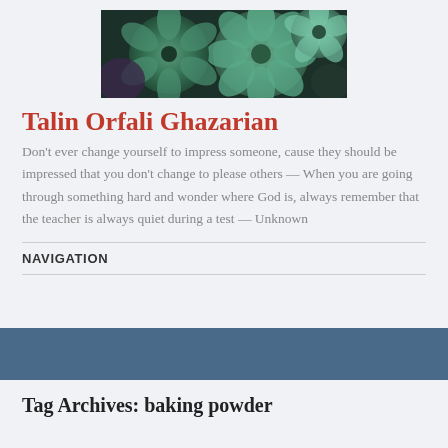[Figure (photo): Photograph of succulent plants with green and teal rosette leaves filling the frame]
Talin Orfali Ghazarian
Don't ever change yourself to impress someone, cause they should be impressed that you don't change to please others — When you are going through something hard and wonder where God is, always remember that the teacher is always quiet during a test — Unknown
NAVIGATION
Tag Archives: baking powder